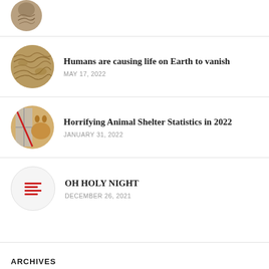[Figure (photo): Partial circular thumbnail of previous article at top of page (cropped)]
Humans are causing life on Earth to vanish
MAY 17, 2022
Horrifying Animal Shelter Statistics in 2022
JANUARY 31, 2022
OH HOLY NIGHT
DECEMBER 26, 2021
ARCHIVES
Select Month